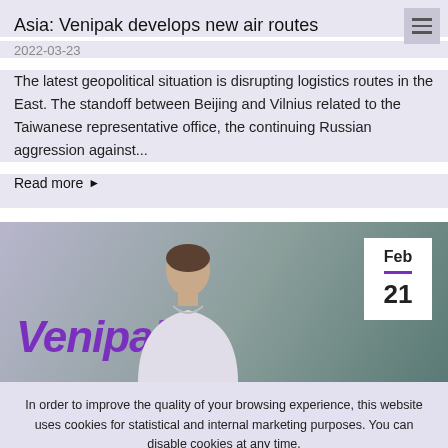Asia: Venipak develops new air routes
2022-03-23
The latest geopolitical situation is disrupting logistics routes in the East. The standoff between Beijing and Vilnius related to the Taiwanese representative office, the continuing Russian aggression against...
Read more ▶
[Figure (photo): Photo of a person in front of a Venipak branded background, with a date badge showing Feb 21]
In order to improve the quality of your browsing experience, this website uses cookies for statistical and internal marketing purposes. You can disable cookies at any time.
Accept  Cookie policy